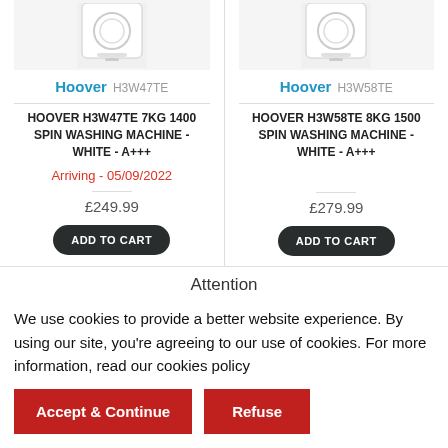[Figure (illustration): Partial product image of Hoover H3W47TE washing machine, top cropped]
Hoover H3W47TE
HOOVER H3W47TE 7KG 1400 SPIN WASHING MACHINE - WHITE - A+++
Arriving - 05/09/2022
£249.99
ADD TO CART
[Figure (illustration): Partial product image of Hoover H3W58TE washing machine, top cropped]
Hoover H3W58TE
HOOVER H3W58TE 8KG 1500 SPIN WASHING MACHINE - WHITE - A+++
£279.99
ADD TO CART
Attention
We use cookies to provide a better website experience. By using our site, you're agreeing to our use of cookies. For more information, read our cookies policy
Accept & Continue
Refuse